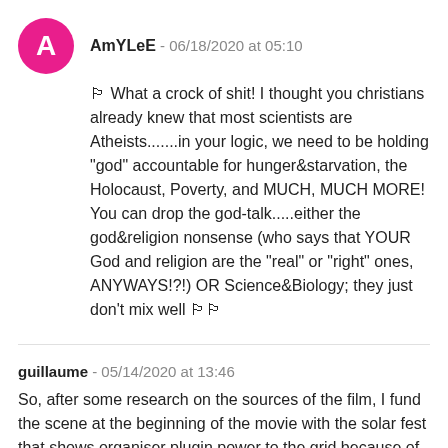AmYLeE - 06/18/2020 at 05:10
🏳 What a crock of shit! I thought you christians already knew that most scientists are Atheists.......in your logic, we need to be holding "god" accountable for hunger&starvation, the Holocaust, Poverty, and MUCH, MUCH MORE! You can drop the god-talk.....either the god&religion nonsense (who says that YOUR God and religion are the "real" or "right" ones, ANYWAYS!?!) OR Science&Biology; they just don't mix well 🏳🏳
guillaume - 05/14/2020 at 13:46
So, after some research on the sources of the film, I fund the scene at the beginning of the movie with the solar fest that shows organiser plugin power to the grid because of the rain was...